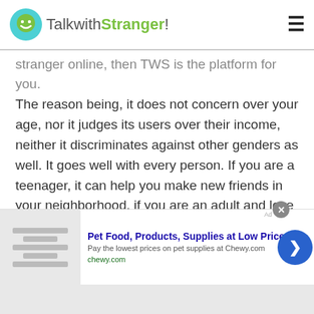TalkwithStranger!
stranger online, then TWS is the platform for you. The reason being, it does not concern over your age, nor it judges its users over their income, neither it discriminates against other genders as well. It goes well with every person. If you are a teenager, it can help you make new friends in your neighborhood, if you are an adult and love to travel, then you can video chat with multiple people of Bhutan to gain knowledge about the tourist destinations in Bhutan.
Keeping in view this scenario, other genders all around the world gets to face extreme
[Figure (screenshot): Advertisement banner for Chewy.com: Pet Food, Products, Supplies at Low Prices - Pay the lowest prices on pet supplies at Chewy.com]